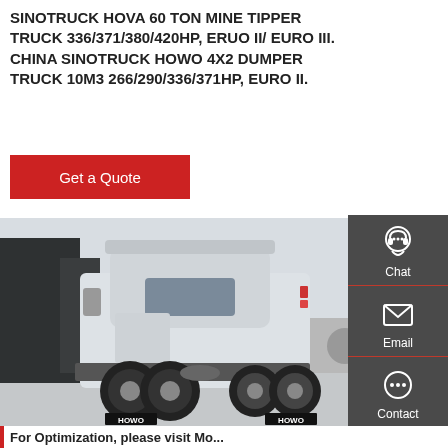SINOTRUCK HOVA 60 TON MINE TIPPER TRUCK 336/371/380/420HP, ERUO II/ EURO III. CHINA SINOTRUCK HOWO 4X2 DUMPER TRUCK 10M3 266/290/336/371HP, EURO II.
Get a Quote
[Figure (photo): Rear view of a HOWO Sinotruck heavy truck cab (tractor unit) parked on a concrete surface with industrial buildings and a tanker truck visible in the background. The truck has large dual rear wheels and HOWO branding on the mudflaps.]
For Optimization, please visit Mo...